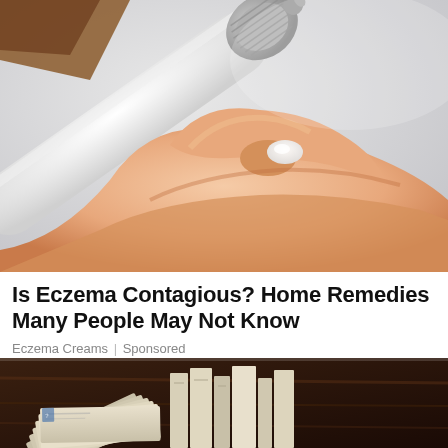[Figure (photo): Close-up photo of a hand squeezing white cream from a tube onto a fingertip, with a light gray/white background.]
Is Eczema Contagious? Home Remedies Many People May Not Know
Eczema Creams | Sponsored
[Figure (photo): Partial photo showing stacked books or papers fanned out on a dark surface, partially visible at the bottom of the page.]